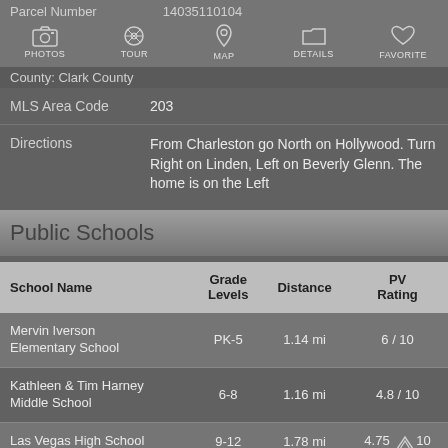Parcel Number: 14035110104
County: Clark County
|  |  |
| --- | --- |
| MLS Area Code | 203 |
| Directions | From Charleston go North on Hollywood. Turn Right on Linden, Left on Beverly Glenn. The home is on the Left |
Public Schools
| School Name | Grade Levels | Distance | PV Rating |
| --- | --- | --- | --- |
| Mervin Iverson Elementary School | PK-5 | 1.14 mi | 6 / 10 |
| Kathleen & Tim Harney Middle School | 6-8 | 1.16 mi | 4.8 / 10 |
| Las Vegas High School | 9-12 | 1.78 mi | 4.75 / 10 |
| Las Vegas Academy Of |  |  |  |